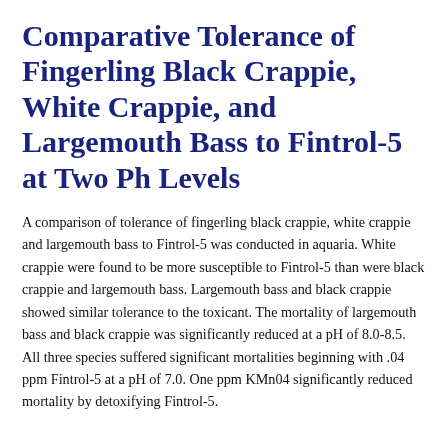Comparative Tolerance of Fingerling Black Crappie, White Crappie, and Largemouth Bass to Fintrol-5 at Two Ph Levels
A comparison of tolerance of fingerling black crappie, white crappie and largemouth bass to Fintrol-5 was conducted in aquaria. White crappie were found to be more susceptible to Fintrol-5 than were black crappie and largemouth bass. Largemouth bass and black crappie showed similar tolerance to the toxicant. The mortality of largemouth bass and black crappie was significantly reduced at a pH of 8.0-8.5. All three species suffered significant mortalities beginning with .04 ppm Fintrol-5 at a pH of 7.0. One ppm KMn04 significantly reduced mortality by detoxifying Fintrol-5.